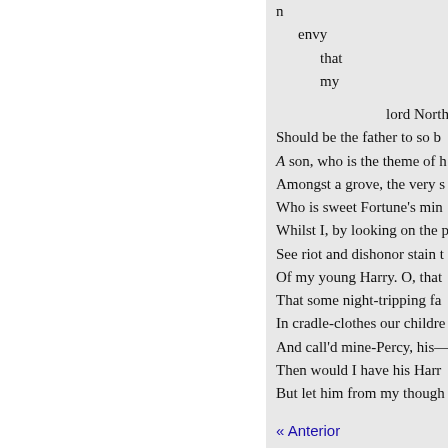n
    envy
        that
        my

                lord Northumber
Should be the father to so b
A son, who is the theme of h
Amongst a grove, the very s
Who is sweet Fortune's min
Whilst I, by looking on the p
See riot and dishonor stain t
Of my young Harry. O, that
That some night-tripping fa
In cradle-clothes our childre
And call'd mine-Percy, his—
Then would I have his Harr
But let him from my though

    COZ,
Of this young Percy's pride
« Anterior